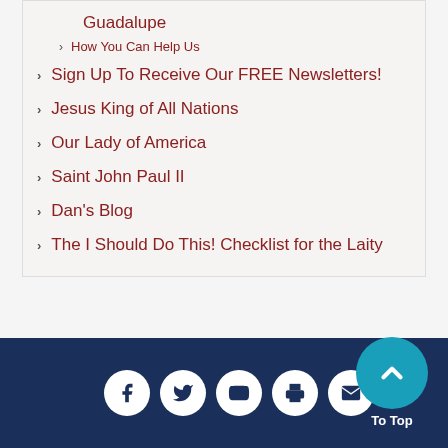Guadalupe
How You Can Help Us
Sign Up To Receive Our FREE Newsletters!
Jesus King of All Nations
Our Lady of America
Saint John Paul II
Dan's Blog
The I Should Do This! Checklist for the Laity
Social media icons: Facebook, Twitter, YouTube, Print, Email. To Top button.